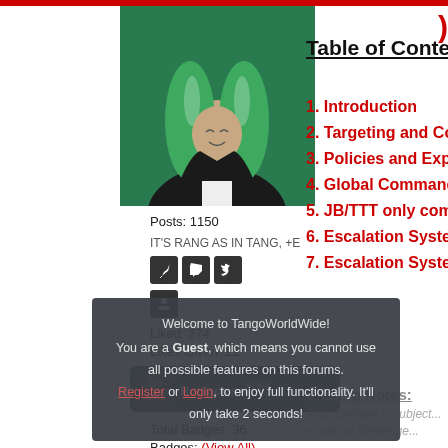[Figure (illustration): Anime-style character with green hair and black suit on green background, forum user avatar]
Posts: 1150
IT'S RANG AS IN TANG, +E
[Figure (infographic): Social media icons: feather/quill, Twitch, Twitter in black square buttons]
[Figure (infographic): Profile/person icon in black square button]
Liked: 274
Likes Given: 22
[Figure (screenshot): Steam profile card for user Rangoose with HONK superscript, dark blue-grey background]
Total Badges: 36
Badges: (View All)
[Figure (infographic): Grid of forum badges including horse badge, red 4 badge, brown bear badge, 3 year badge, 10 badge, maple leaf badge, 18+ badge, 2 year badge, and others]
Table of Contents
1. Introduction
2. Targeting and Comma...
3. Policies and Expectati...
4. Global Commands
5. JB/TTT only command...
6. Escalation System
7. Escalation System for...
Closing Notes:
This rulebook is subject... te with or @Refnge...
[Figure (screenshot): Dark overlay popup: Welcome to TangoWorldWide! You are a Guest, which means you cannot use all possible features on this forums. [Register] or [Login], to enjoy full functionality. It'll only take 2 seconds!]